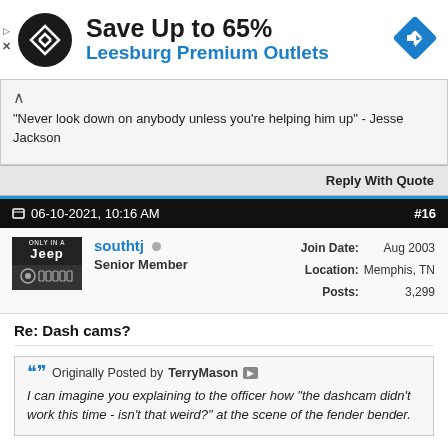[Figure (other): Advertisement banner: Save Up to 65% Leesburg Premium Outlets with logo and direction arrow icon]
"Never look down on anybody unless you're helping him up" - Jesse Jackson
Reply With Quote
06-10-2021, 10:16 AM  #16
southtj  Senior Member  Join Date: Aug 2003  Location: Memphis, TN  Posts: 3,299
Re: Dash cams?
Originally Posted by TerryMason  I can imagine you explaining to the officer how "the dashcam didn't work this time - isn't that weird?" at the scene of the fender bender.